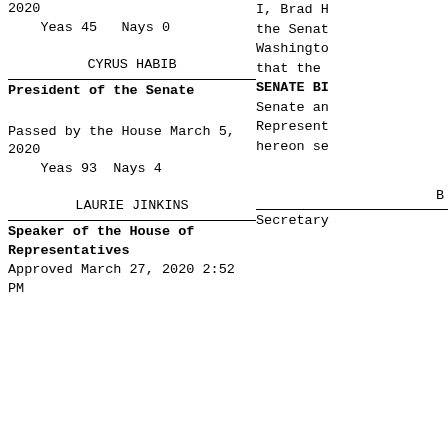2020
    Yeas 45   Nays 0
CYRUS HABIB
President of the Senate
Passed by the House March 5, 2020
    Yeas 93  Nays 4
LAURIE JINKINS
Speaker of the House of Representatives
Approved March 27, 2020 2:52 PM
I, Brad H the Senat Washingto that the SENATE BI Senate an Represent hereon se
B
Secretary